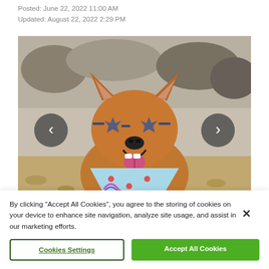Posted:  June 22, 2022 11:00 AM
Updated:  August 22, 2022 2:29 PM
[Figure (photo): A smiling Shiba Inu dog wearing star-shaped blue sunglasses and a light blue bandana with colorful dots, sitting outdoors on rocky terrain. Navigation arrows (< and >) appear on the left and right sides of the image.]
By clicking "Accept All Cookies", you agree to the storing of cookies on your device to enhance site navigation, analyze site usage, and assist in our marketing efforts.
Cookies Settings
Accept All Cookies